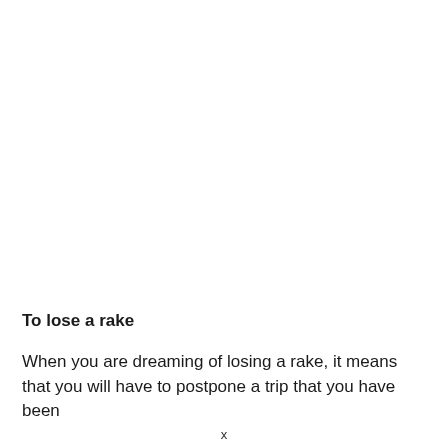To lose a rake
When you are dreaming of losing a rake, it means that you will have to postpone a trip that you have been
x